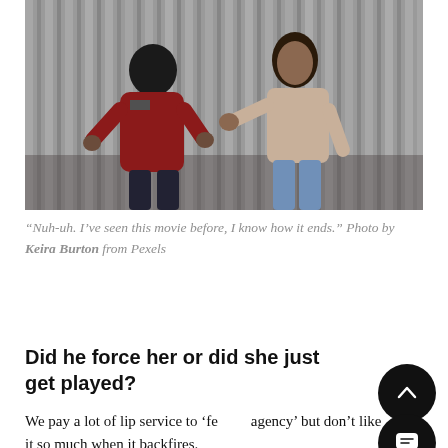[Figure (photo): Two people standing in front of a corrugated metal wall. On the left, a young man in a red hoodie with hands out in a questioning gesture. On the right, a woman in a beige sweatshirt and blue jeans holding one hand up as if refusing or stopping him.]
“Nuh-uh. I’ve seen this movie before, I know how it ends.” Photo by Keira Burton from Pexels
Did he force her or did she just get played?
We pay a lot of lip service to ‘female agency’ but don’t like it so much when it backfires.